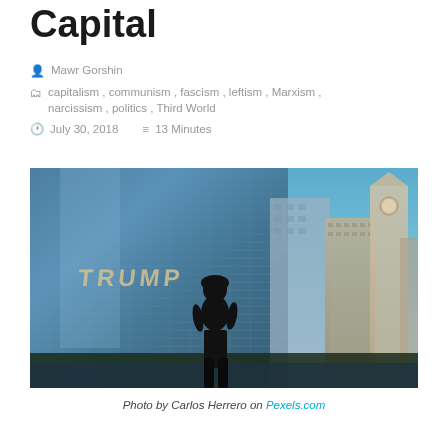Capital
Mawr Gorshin
capitalism, communism, fascism, leftism, Marxism, narcissism, politics, Third World
July 30, 2018   13 Minutes
[Figure (photo): Silhouette of a person standing in front of the Trump Tower in Chicago, with other skyscrapers including a clock tower visible against a blue sky]
Photo by Carlos Herrero on Pexels.com